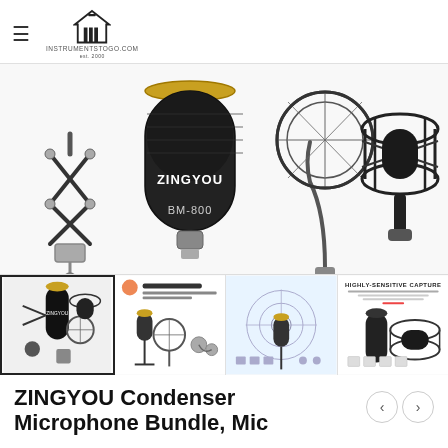INSTRUMENTSTOGO.COM
[Figure (photo): Product photo of ZINGYOU BM-800 condenser microphone bundle showing microphone on scissor arm stand, pop filter, and shock mount on white background]
[Figure (photo): Four thumbnail images of the ZINGYOU condenser microphone bundle: full kit spread, recording studio equipment layout, microphone on stand diagram, and highly-sensitive capture detail]
ZINGYOU Condenser Microphone Bundle, Mic